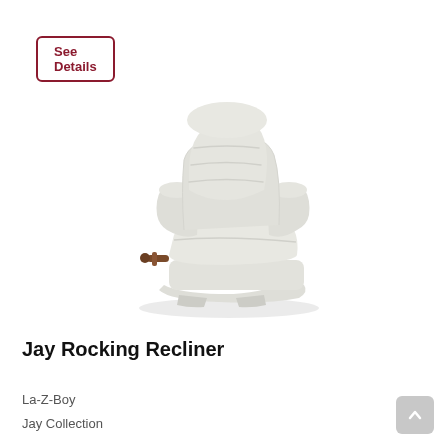See Details
[Figure (photo): A cream/off-white upholstered La-Z-Boy Jay Rocking Recliner chair shown at a slight angle, with a side lever handle, on a white background.]
Jay Rocking Recliner
La-Z-Boy
Jay Collection